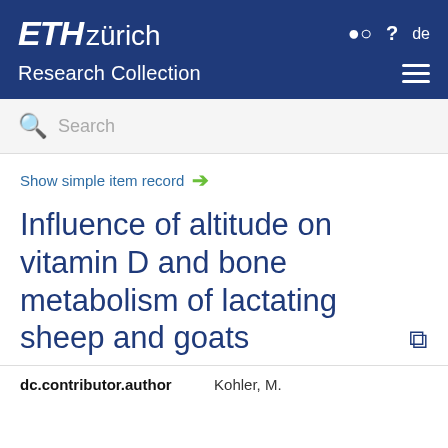ETH zürich Research Collection
Search
Show simple item record →
Influence of altitude on vitamin D and bone metabolism of lactating sheep and goats
| dc.contributor.author |  |
| --- | --- |
| dc.contributor.author | Kohler, M. |